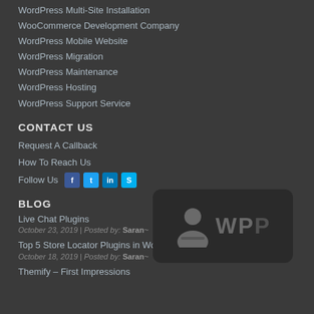WordPress Multi-Site Installation
WooCommerce Development Company
WordPress Mobile Website
WordPress Migration
WordPress Maintenance
WordPress Hosting
WordPress Support Service
CONTACT US
Request A Callback
How To Reach Us
Follow Us
[Figure (logo): WPP badge logo with person silhouette icon and WPP text]
BLOG
Live Chat Plugins
October 23, 2019 | Posted by: Saran
Top 5 Store Locator Plugins in WordPress
October 18, 2019 | Posted by: Saran
Themify – First Impressions